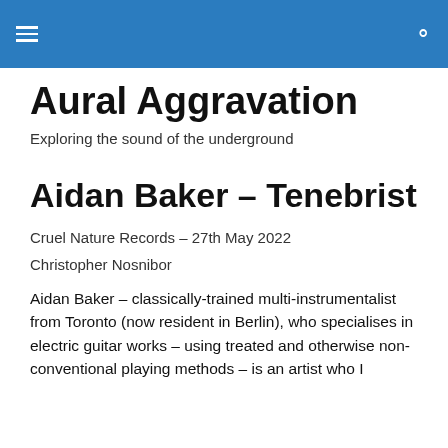Aural Aggravation – navigation header with hamburger menu and search icon
Aural Aggravation
Exploring the sound of the underground
Aidan Baker – Tenebrist
Cruel Nature Records – 27th May 2022
Christopher Nosnibor
Aidan Baker – classically-trained multi-instrumentalist from Toronto (now resident in Berlin), who specialises in electric guitar works – using treated and otherwise non-conventional playing methods – is an artist who I